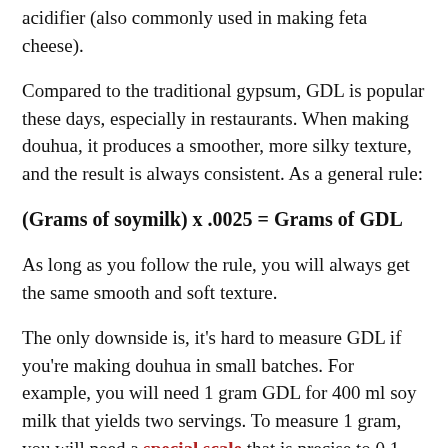acidifier (also commonly used in making feta cheese).
Compared to the traditional gypsum, GDL is popular these days, especially in restaurants. When making douhua, it produces a smoother, more silky texture, and the result is always consistent. As a general rule:
As long as you follow the rule, you will always get the same smooth and soft texture.
The only downside is, it's hard to measure GDL if you're making douhua in small batches. For example, you will need 1 gram GDL for 400 ml soy milk that yields two servings. To measure 1 gram, you will need a special scale that is precise to 0.1 gram.
During the testing, we tried using the spoon measurement